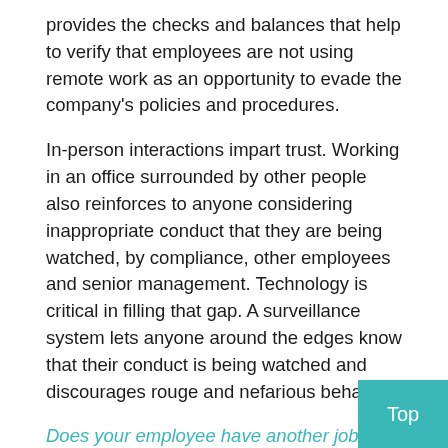provides the checks and balances that help to verify that employees are not using remote work as an opportunity to evade the company's policies and procedures.
In-person interactions impart trust. Working in an office surrounded by other people also reinforces to anyone considering inappropriate conduct that they are being watched, by compliance, other employees and senior management. Technology is critical in filling that gap. A surveillance system lets anyone around the edges know that their conduct is being watched and discourages rouge and nefarious behavior.
Does your employee have another job as they work remote during the pandemic?
According to Coalition Greenwich, spending on tra surveillance technology was expected to reach $1. 2021, a 23% increase from 2020. MCO CEO Brian Fahey